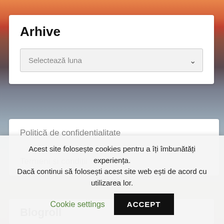[Figure (photo): Background sunset beach scene with orange/red sky and rocks]
Arhive
Selectează luna
Politică de confidențialitate
Termeni și condiții
Blogroll
Acest site folosește cookies pentru a îți îmbunătăți experiența. Dacă continui să folosești acest site web ești de acord cu utilizarea lor.
Cookie settings
ACCEPT